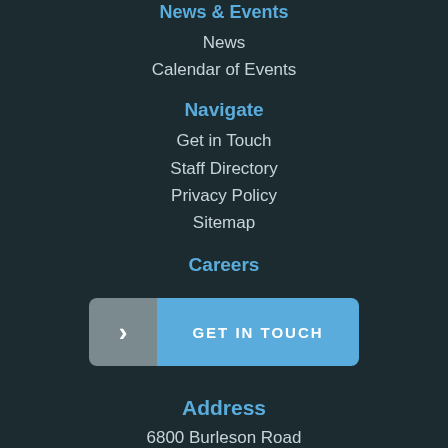News & Events
News
Calendar of Events
Navigate
Get in Touch
Staff Directory
Privacy Policy
Sitemap
Careers
[Figure (other): Blue call-to-action button with arrow icon and text GET IN TOUCH]
Address
6800 Burleson Road
Building 310, Suite 165
Austin, TX 78741